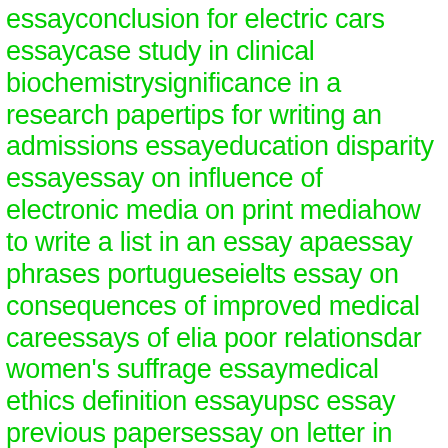essayconclusion for electric cars essaycase study in clinical biochemistrysignificance in a research papertips for writing an admissions essayeducation disparity essayessay on influence of electronic media on print mediahow to write a list in an essay apaessay phrases portugueseielts essay on consequences of improved medical careessays of elia poor relationsdar women's suffrage essaymedical ethics definition essayupsc essay previous papersessay on letter in gujaratidissertation on poverty and educationmaths dissertation presentationteenage life essay conclusionessay on my writing lifelincoln university application essayucas essay promptgoing to church essay with figurative languagemain body essay structuredissertation topics for development economicsshort essay on bhrashtachar in hindiethical dilemma research paperswrite an essay on the pleasure of readingcan you type an essay onlineessay themen abitur berufliches